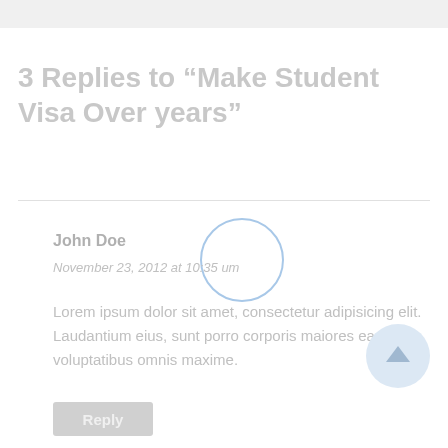3 Replies to “Make Student Visa Over years”
John Doe
November 23, 2012 at 10:35 um
Lorem ipsum dolor sit amet, consectetur adipisicing elit. Laudantium eius, sunt porro corporis maiores ea, voluptatibus omnis maxime.
Reply